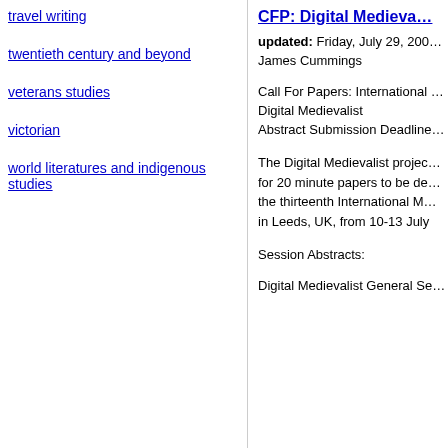travel writing
twentieth century and beyond
veterans studies
victorian
world literatures and indigenous studies
CFP: Digital Medieva…
updated: Friday, July 29, 200…
James Cummings
Call For Papers: International … Digital Medievalist
Abstract Submission Deadline…
The Digital Medievalist projec… for 20 minute papers to be de… the thirteenth International M… in Leeds, UK, from 10-13 July
Session Abstracts:
Digital Medievalist General Se…